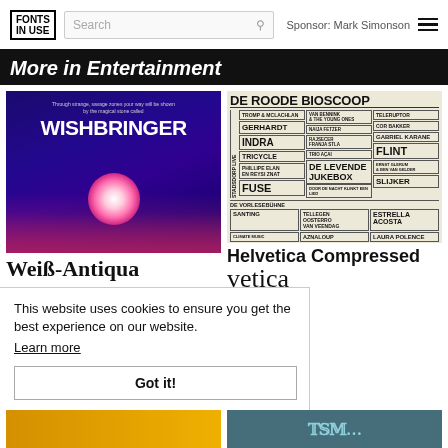FONTS IN USE | Search | Sponsor: Mark Simonson
More in Entertainment
[Figure (photo): Wishbringer game cover with glowing orb held in pink hands on dark blue background with white title text]
[Figure (photo): De Roode Bioscoop theater poster with dense typographic grid layout featuring artist names in various font sizes]
Weiß-Antiqua
Helvetica Compressed
vetica
This website uses cookies to ensure you get the best experience on our website. Learn more
Got it!
[Figure (photo): Yellow/orange partial image at bottom left]
[Figure (photo): Dark teal image with decorative text at bottom right]